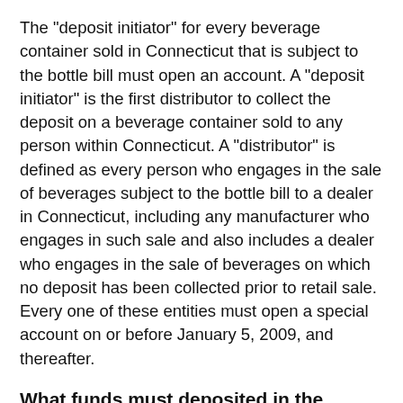The "deposit initiator" for every beverage container sold in Connecticut that is subject to the bottle bill must open an account. A "deposit initiator" is the first distributor to collect the deposit on a beverage container sold to any person within Connecticut. A "distributor" is defined as every person who engages in the sale of beverages subject to the bottle bill to a dealer in Connecticut, including any manufacturer who engages in such sale and also includes a dealer who engages in the sale of beverages on which no deposit has been collected prior to retail sale. Every one of these entities must open a special account on or before January 5, 2009, and thereafter.
What funds must deposited in the special account?
The full refund value (5 cents on most containers) for each and every beverage container subject to the bottle